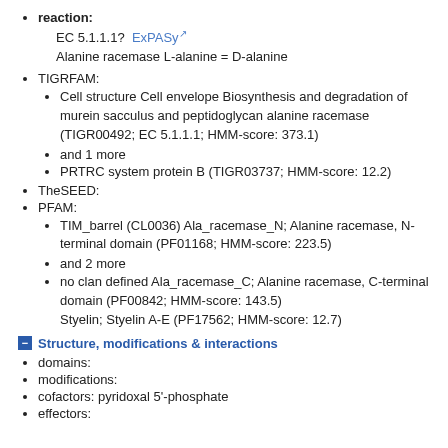reaction:
EC 5.1.1.1?  ExPASy
Alanine racemase L-alanine = D-alanine
TIGRFAM:
Cell structure Cell envelope Biosynthesis and degradation of murein sacculus and peptidoglycan alanine racemase (TIGR00492; EC 5.1.1.1; HMM-score: 373.1)
and 1 more
PRTRC system protein B (TIGR03737; HMM-score: 12.2)
TheSEED:
PFAM:
TIM_barrel (CL0036) Ala_racemase_N; Alanine racemase, N-terminal domain (PF01168; HMM-score: 223.5)
and 2 more
no clan defined Ala_racemase_C; Alanine racemase, C-terminal domain (PF00842; HMM-score: 143.5)
Stylein; Styelin A-E (PF17562; HMM-score: 12.7)
Structure, modifications & interactions
domains:
modifications:
cofactors: pyridoxal 5'-phosphate
effectors: